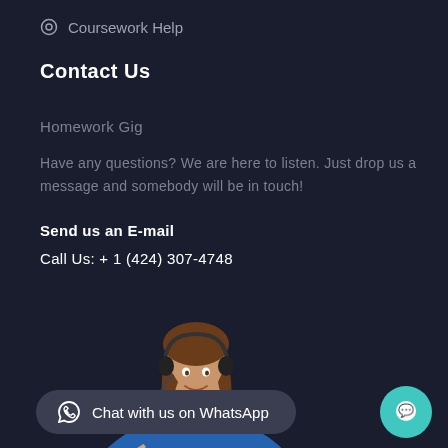Coursework Help
Contact Us
Homework Gig
Have any questions? We are here to listen. Just drop us a message and somebody will be in touch!
Send us an E-mail
Call Us: + 1 (424) 307-4748
[Figure (illustration): Customer service representative wearing a headset and blue outfit, gesturing with open hands]
Chat with us on WhatsApp